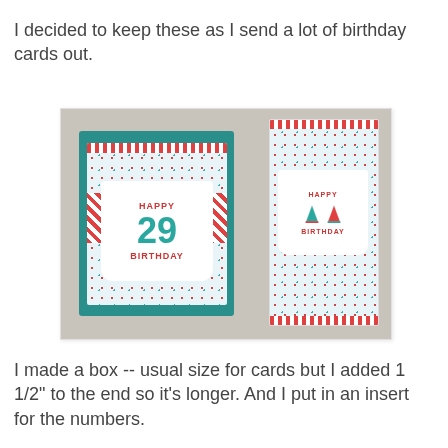I decided to keep these as I send a lot of birthday cards out.
[Figure (photo): Two birthday cards shown side by side. The left card is inside a teal/turquoise colored box and features a 'Happy 29 Birthday' label with a large teal '29' number and red decorative stripes. The right card shows 'Happy Birthday' with party hat illustrations, also with red striped borders at top and bottom.]
I made a box -- usual size for cards but I added 1 1/2" to the end so it's longer. And I put in an insert for the numbers.